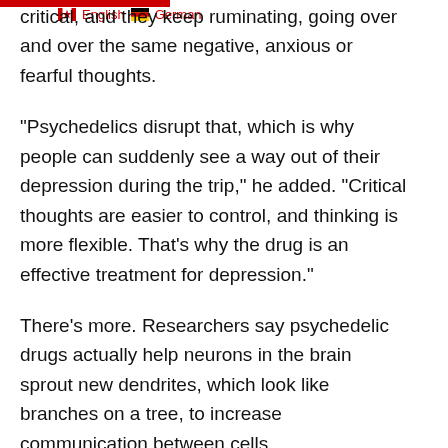critical, and they keep ruminating, going over and over the same negative, anxious or fearful thoughts.
“Psychedelics disrupt that, which is why people can suddenly see a way out of their depression during the trip,” he added. “Critical thoughts are easier to control, and thinking is more flexible. That’s why the drug is an effective treatment for depression.”
There’s more. Researchers say psychedelic drugs actually help neurons in the brain sprout new dendrites, which look like branches on a tree, to increase communication between cells.
“These drugs can increase neuronal outgrowth, they can increase this branching of neurons, they can increase synapses. That’s called neuroplasticity,” Nutt said.
That’s different from neurogenesis, which is the development